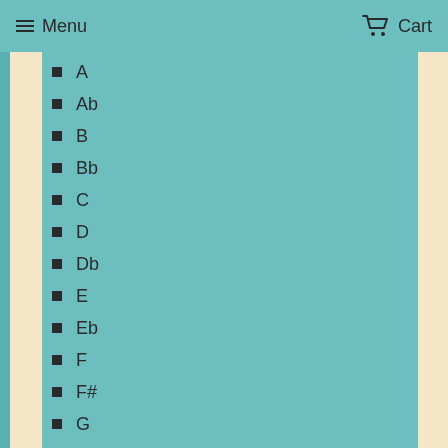Menu   Cart
A
Ab
B
Bb
C
D
Db
E
Eb
F
F#
G
PB (Power Bender)
PD (Power Draw)
Low
Minor